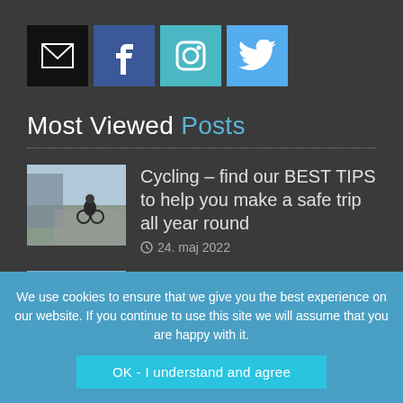[Figure (infographic): Row of four social media icon buttons: email (black background), Facebook (blue), Instagram (teal), Twitter (light blue)]
Most Viewed Posts
Cycling – find our BEST TIPS to help you make a safe trip all year round | 24. maj 2022
Adjusting to Danish early education – a challenging experience says an American
We use cookies to ensure that we give you the best experience on our website. If you continue to use this site we will assume that you are happy with it.
OK - I understand and agree